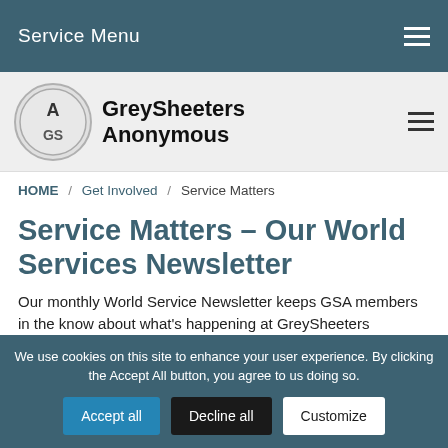Service Menu
[Figure (logo): GreySheeters Anonymous logo: circular badge with 'A GS' monogram, next to bold text 'GreySheeters Anonymous']
HOME / Get Involved / Service Matters
Service Matters – Our World Services Newsletter
Our monthly World Service Newsletter keeps GSA members in the know about what's happening at GreySheeters...
We use cookies on this site to enhance your user experience. By clicking the Accept All button, you agree to us doing so.